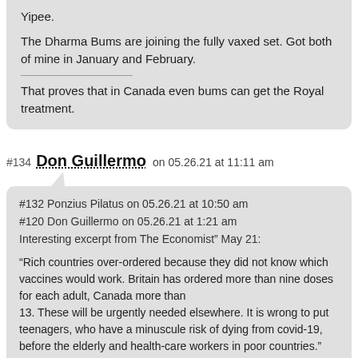Yipee.
The Dharma Bums are joining the fully vaxed set. Got both of mine in January and February.
That proves that in Canada even bums can get the Royal treatment.
#134 Don Guillermo on 05.26.21 at 11:11 am
#132 Ponzius Pilatus on 05.26.21 at 10:50 am
#120 Don Guillermo on 05.26.21 at 1:21 am
Interesting excerpt from The Economist” May 21:

“Rich countries over-ordered because they did not know which vaccines would work. Britain has ordered more than nine doses for each adult, Canada more than 13. These will be urgently needed elsewhere. It is wrong to put teenagers, who have a minuscule risk of dying from covid-19, before the elderly and health-care workers in poor countries.”
Another blog dog, who cites The Economist